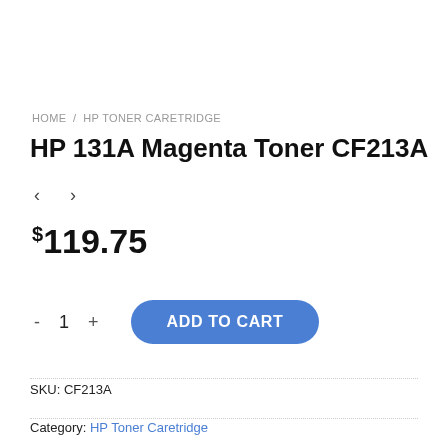HOME / HP TONER CARETRIDGE
HP 131A Magenta Toner CF213A
< >
$119.75
- 1 + ADD TO CART
SKU: CF213A
Category: HP Toner Caretridge